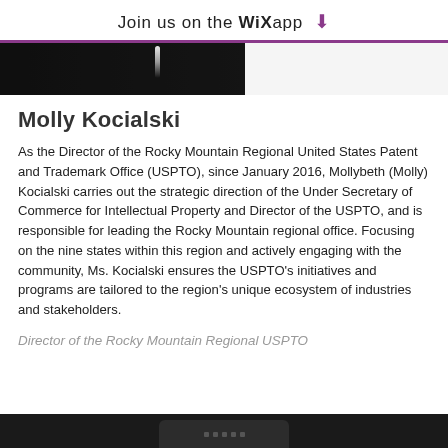Join us on the WiX app
[Figure (photo): Dark background photo strip, partial view of a person at a podium or event]
Molly Kocialski
As the Director of the Rocky Mountain Regional United States Patent and Trademark Office (USPTO), since January 2016, Mollybeth (Molly) Kocialski carries out the strategic direction of the Under Secretary of Commerce for Intellectual Property and Director of the USPTO, and is responsible for leading the Rocky Mountain regional office. Focusing on the nine states within this region and actively engaging with the community, Ms. Kocialski ensures the USPTO's initiatives and programs are tailored to the region's unique ecosystem of industries and stakeholders.
Director of the Rocky Mountain Regional USPTO
[Figure (photo): Dark bottom strip showing partial view of device or person, bottom of page]